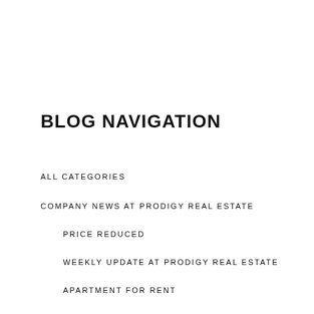BLOG NAVIGATION
ALL CATEGORIES
COMPANY NEWS AT PRODIGY REAL ESTATE
PRICE REDUCED
WEEKLY UPDATE AT PRODIGY REAL ESTATE
APARTMENT FOR RENT